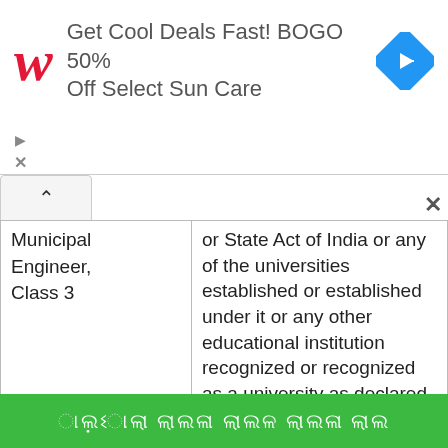[Figure (infographic): Walgreens advertisement banner: 'Get Cool Deals Fast! BOGO 50% Off Select Sun Care' with Walgreens red cursive W logo and blue diamond navigation icon]
| Municipal Engineer, Class 3 | or State Act of India or any of the universities established or established under it or any other educational institution recognized or recognized as a university as declared under section 3 of UGC Act 1956. Or equivalent qualification approved by the government. For Other |
ભ ૃ ૃ ૃ ભ ૃ ભ ૃ ભ ૃ ૃ ૃ ૃ ૃ ૃ ૃ ૃ ૃ ભ ૃ